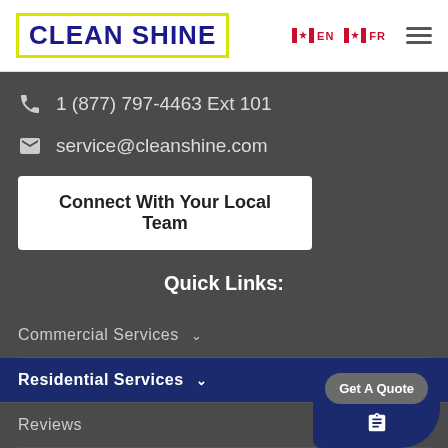CLEAN SHINE
1 (877) 797-4463 Ext 101
service@cleanshine.com
Connect With Your Local Team
Quick Links:
Commercial Services
Residential Services
Reviews
Bl